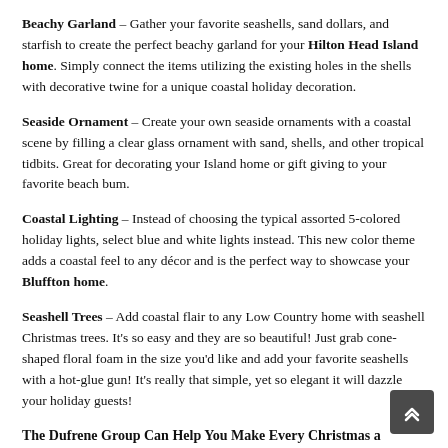Beachy Garland – Gather your favorite seashells, sand dollars, and starfish to create the perfect beachy garland for your Hilton Head Island home. Simply connect the items utilizing the existing holes in the shells with decorative twine for a unique coastal holiday decoration.
Seaside Ornament – Create your own seaside ornaments with a coastal scene by filling a clear glass ornament with sand, shells, and other tropical tidbits. Great for decorating your Island home or gift giving to your favorite beach bum.
Coastal Lighting – Instead of choosing the typical assorted 5-colored holiday lights, select blue and white lights instead. This new color theme adds a coastal feel to any décor and is the perfect way to showcase your Bluffton home.
Seashell Trees – Add coastal flair to any Low Country home with seashell Christmas trees. It's so easy and they are so beautiful! Just grab cone-shaped floral foam in the size you'd like and add your favorite seashells with a hot-glue gun! It's really that simple, yet so elegant it will dazzle your holiday guests!
The Dufrene Group Can Help You Make Every Christmas a